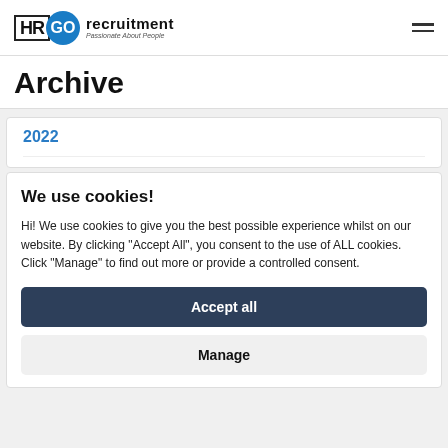HR GO recruitment — Passionate About People
Archive
2022
We use cookies!
Hi! We use cookies to give you the best possible experience whilst on our website. By clicking "Accept All", you consent to the use of ALL cookies. Click "Manage" to find out more or provide a controlled consent.
Accept all
Manage